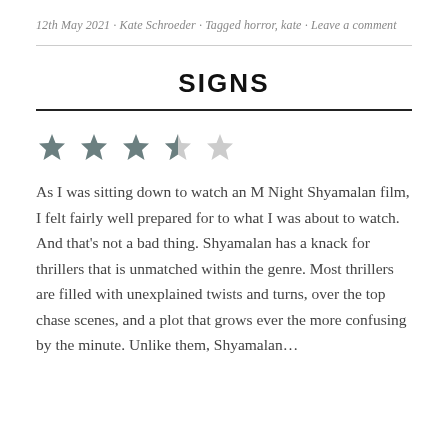12th May 2021 · Kate Schroeder · Tagged horror, kate · Leave a comment
SIGNS
[Figure (other): Star rating: 3.5 out of 5 stars (four filled/half-filled stars, one empty star)]
As I was sitting down to watch an M Night Shyamalan film, I felt fairly well prepared for to what I was about to watch. And that's not a bad thing. Shyamalan has a knack for thrillers that is unmatched within the genre. Most thrillers are filled with unexplained twists and turns, over the top chase scenes, and a plot that grows ever the more confusing by the minute. Unlike them, Shyamalan…